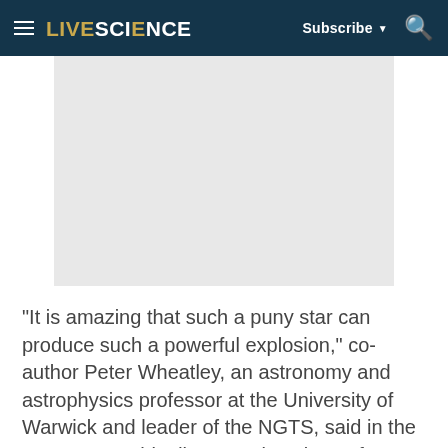LIVESCIENCE — Subscribe ▼ 🔍
[Figure (photo): A light gray placeholder image rectangle, approximately 340x230px, representing an article image on LiveScience website.]
"It is amazing that such a puny star can produce such a powerful explosion," co-author Peter Wheatley, an astronomy and astrophysics professor at the University of Warwick and leader of the NGTS, said in the statement. "This discovery is going to force us to